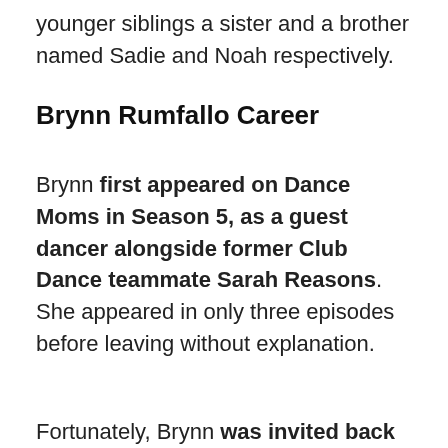younger siblings a sister and a brother named Sadie and Noah respectively.
Brynn Rumfallo Career
Brynn first appeared on Dance Moms in Season 5, as a guest dancer alongside former Club Dance teammate Sarah Reasons. She appeared in only three episodes before leaving without explanation.
Fortunately, Brynn was invited back to the Abby Lee Dance Company, where she appeared in the following season named, “New Season, New Rules” and danced in Maddie’s place. After Maddie’s return, she was caught at a crossroads between staying with ALDC or